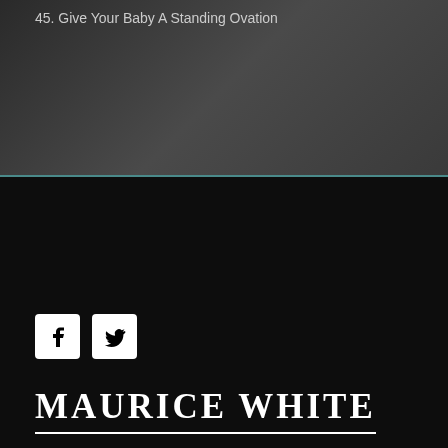45. Give Your Baby A Standing Ovation
[Figure (logo): Social media icons: Facebook (white F on white square) and Twitter (white bird on white square)]
[Figure (logo): Maurice White website logo text in large serif uppercase font: MAURICE WHITE with underline]
© 2003-2022 Maurice White. All Rights Reserved. Created By Tofu Island